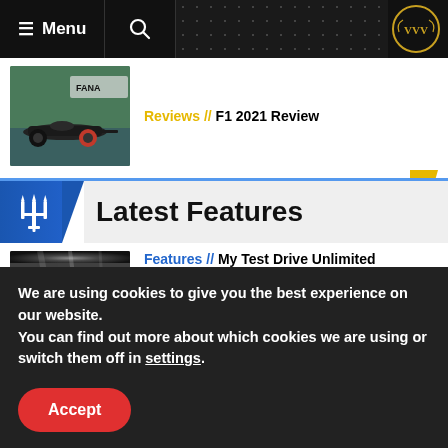≡ Menu  [search]  [VVV logo]
Reviews // F1 2021 Review
[Figure (photo): Formula 1 racing car on track with FANATIC branding in background]
Latest Features
Features // My Test Drive Unlimited
[Figure (photo): Dark tunnel or garage interior photograph]
We are using cookies to give you the best experience on our website.
You can find out more about which cookies we are using or switch them off in settings.
Accept